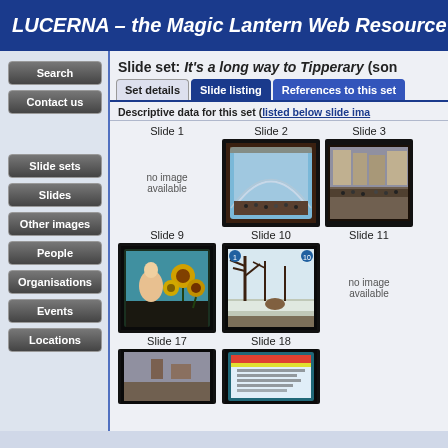LUCERNA – the Magic Lantern Web Resource
Slide set: It's a long way to Tipperary (son…
Set details | Slide listing | References to this set
Descriptive data for this set (listed below slide ima…
[Figure (screenshot): Grid of slide thumbnails: Slide 1 (no image available), Slide 2 (interior train station image), Slide 3 (street scene image), Slide 9 (woman with flowers image), Slide 10 (outdoor scene image), Slide 11 (no image available), Slide 17 (partial), Slide 18 (partial)]